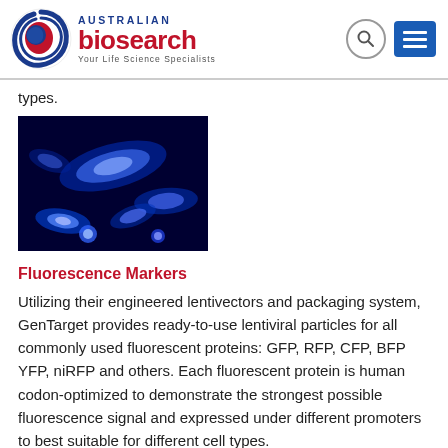Australian biosearch — Your Life Science Specialists
types.
[Figure (photo): Fluorescence microscopy image showing blue-glowing cells on a dark background]
Fluorescence Markers
Utilizing their engineered lentivectors and packaging system, GenTarget provides ready-to-use lentiviral particles for all commonly used fluorescent proteins: GFP, RFP, CFP, BFP YFP, niRFP and others. Each fluorescent protein is human codon-optimized to demonstrate the strongest possible fluorescence signal and expressed under different promoters to best suitable for different cell types.